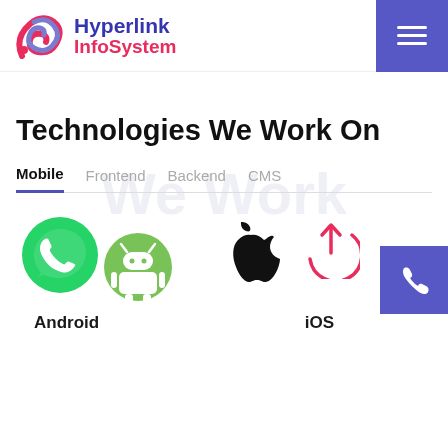[Figure (logo): Hyperlink InfoSystem logo with stylized S/swirl icon in pink and purple, company name in blue and red]
[Figure (infographic): Purple hamburger menu button in top right corner]
Technologies We Work On
We Work (watermark background text)
Mobile  Frontend  Backend  CMS (tab navigation, Mobile selected)
[Figure (infographic): WhatsApp green circle logo icon (mobile technology)]
[Figure (infographic): Android robot logo in green (mobile technology)]
[Figure (infographic): Purple phone icon button on right side]
[Figure (infographic): Apple logo in black (iOS technology)]
[Figure (infographic): Red/pink circular arrow up icon]
Android
iOS